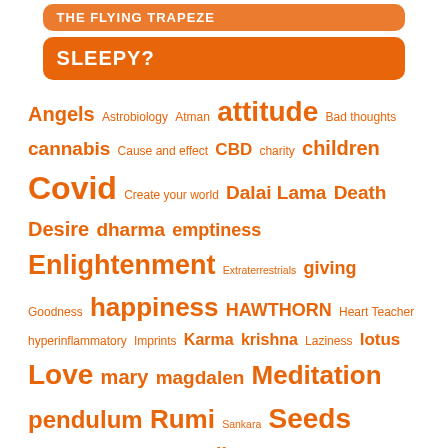THE FLYING TRAPEZE
SLEEPY?
Angels Astrobiology Atman attitude Bad thoughts cannabis Cause and effect CBD charity children Covid Create your world Dalai Lama Death Desire dharma emptiness Enlightenment Extraterrestrials giving Goodness happiness HAWTHORN Heart Teacher hyperinflammatory Imprints Karma krishna Laziness lotus Love mary magdalen Meditation pendulum Rumi Sankara Seeds Self knowledge Shakti Silence smoking herbs Soul survival tantra tarot